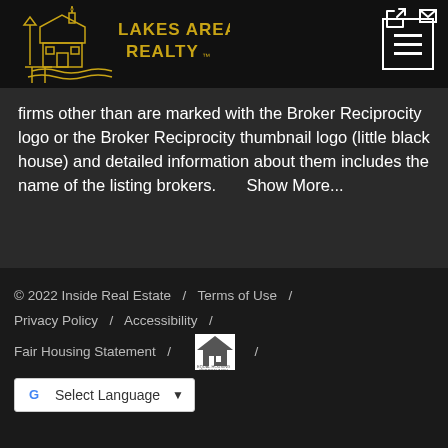[Figure (logo): Lakes Area Realty logo — golden house/cabin illustration with 'LAKES AREA REALTY ™' text in gold on black background]
firms other than are marked with the Broker Reciprocity logo or the Broker Reciprocity thumbnail logo (little black house) and detailed information about them includes the name of the listing brokers.    Show More...
© 2022 Inside Real Estate  /  Terms of Use  /  Privacy Policy  /  Accessibility  /  Fair Housing Statement  /  [Equal Housing logo]
[Figure (other): Google Translate language selector widget — white button with Google 'G' logo and 'Select Language' text with dropdown arrow]